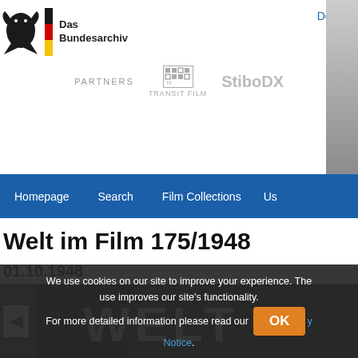Das Bundesarchiv | Partners | TRANSIT FILM | Stibo DX | Deutsch
Homepage | Search | Film Collections | Us
Welt im Film 175/1948
01.10.1948
[Figure (screenshot): Black and white film still showing large letters, partially visible, dark background]
We use cookies on our site to improve your experience. The use improves our site’s functionality. For more detailed information please read our Privacy Notice.